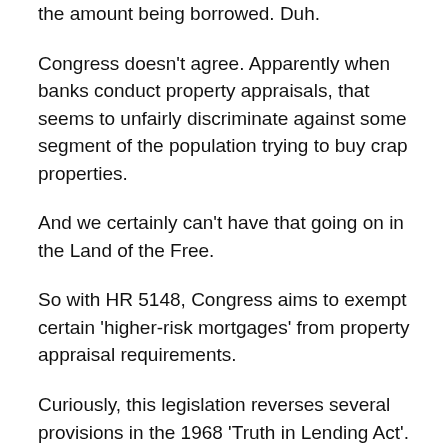the amount being borrowed. Duh.
Congress doesn't agree. Apparently when banks conduct property appraisals, that seems to unfairly discriminate against some segment of the population trying to buy crap properties.
And we certainly can't have that going on in the Land of the Free.
So with HR 5148, Congress aims to exempt certain 'higher-risk mortgages' from property appraisal requirements.
Curiously, this legislation reverses several provisions in the 1968 'Truth in Lending Act'.
It's as if Congress is now anti- Truth in Lending and pro- whatever the hell gets the money on the street.